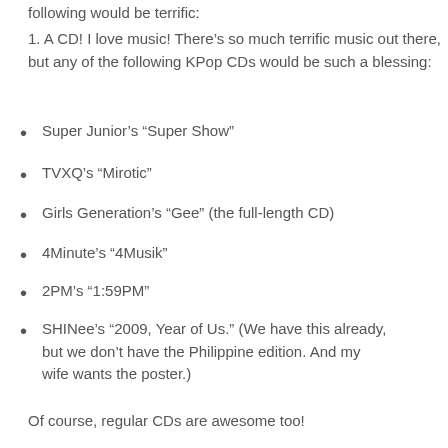following would be terrific:
1. A CD! I love music! There’s so much terrific music out there, but any of the following KPop CDs would be such a blessing:
Super Junior’s “Super Show”
TVXQ’s “Mirotic”
Girls Generation’s “Gee” (the full-length CD)
4Minute’s “4Musik”
2PM’s “1:59PM”
SHINee’s “2009, Year of Us.” (We have this already, but we don’t have the Philippine edition. And my wife wants the poster.)
Of course, regular CDs are awesome too!
Anything from House of Praise (Phil Stacey, Mandisa, Switchfoot, Casting Crowns… there’s no shortage.)